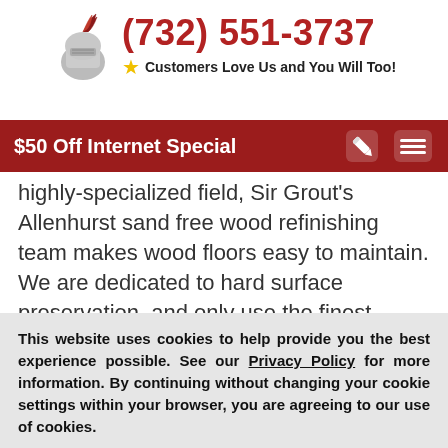(732) 551-3737 — Customers Love Us and You Will Too!
$50 Off Internet Special
highly-specialized field, Sir Grout's Allenhurst sand free wood refinishing team makes wood floors easy to maintain. We are dedicated to hard surface preservation, and only use the finest, professional-grade products.
This website uses cookies to help provide you the best experience possible. See our Privacy Policy for more information. By continuing without changing your cookie settings within your browser, you are agreeing to our use of cookies.
ACCEPT